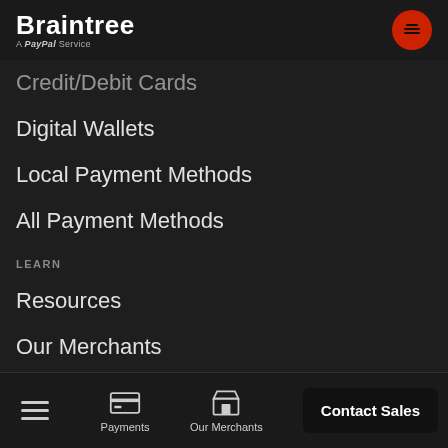Braintree — A PayPal Service
Credit/Debit Cards
Digital Wallets
Local Payment Methods
All Payment Methods
LEARN
Resources
Our Merchants
Blog
Developer Docs
Support Articles
GET STARTED
Payments | Our Merchants | Contact Sales